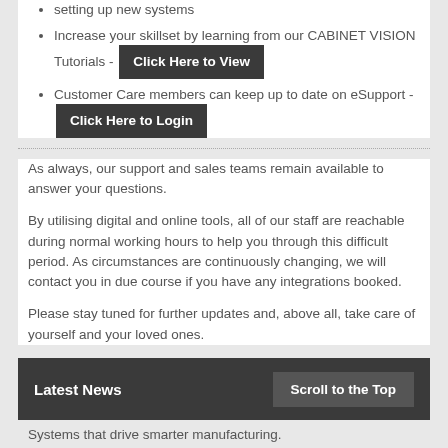setting up new systems
Increase your skillset by learning from our CABINET VISION Tutorials - Click Here to View
Customer Care members can keep up to date on eSupport - Click Here to Login
As always, our support and sales teams remain available to answer your questions.
By utilising digital and online tools, all of our staff are reachable during normal working hours to help you through this difficult period. As circumstances are continuously changing, we will contact you in due course if you have any integrations booked.
Please stay tuned for further updates and, above all, take care of yourself and your loved ones.
Latest News
Scroll to the Top
Systems that drive smarter manufacturing.